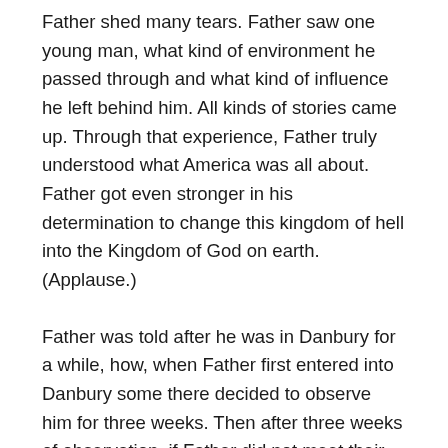Father shed many tears. Father saw one young man, what kind of environment he passed through and what kind of influence he left behind him. All kinds of stories came up. Through that experience, Father truly understood what America was all about. Father got even stronger in his determination to change this kingdom of hell into the Kingdom of God on earth. (Applause.)
Father was told after he was in Danbury for a while, how, when Father first entered into Danbury some there decided to observe him for three weeks. Then after three weeks of observation, if Father did not meet their expectations of a good person, they would eliminate him. They had that kind of scheme. It can happen in prison. But on the contrary they all became